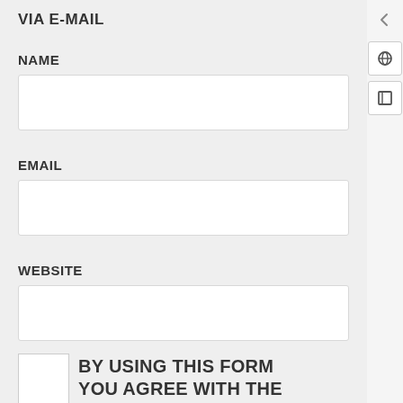VIA E-MAIL
NAME
EMAIL
WEBSITE
BY USING THIS FORM YOU AGREE WITH THE